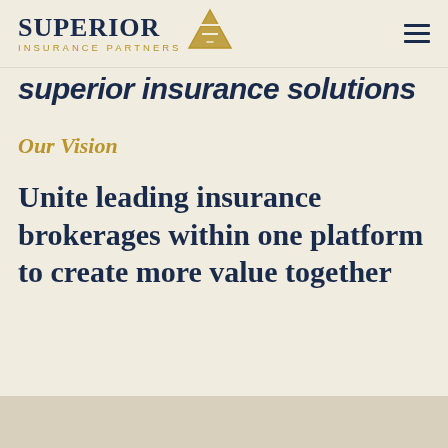Superior Insurance Partners
superior insurance solutions
Our Vision
Unite leading insurance brokerages within one platform to create more value together